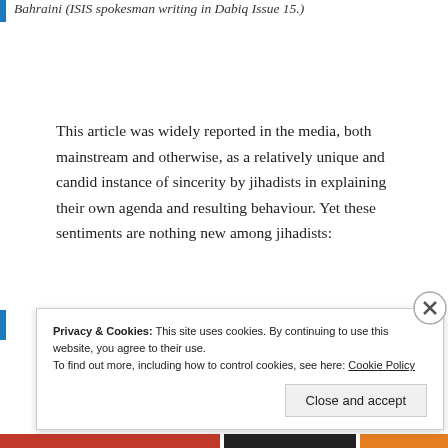Bahraini (ISIS spokesman writing in Dabiq Issue 15.)
This article was widely reported in the media, both mainstream and otherwise, as a relatively unique and candid instance of sincerity by jihadists in explaining their own agenda and resulting behaviour. Yet these sentiments are nothing new among jihadists:
Privacy & Cookies: This site uses cookies. By continuing to use this website, you agree to their use.
To find out more, including how to control cookies, see here: Cookie Policy
Close and accept